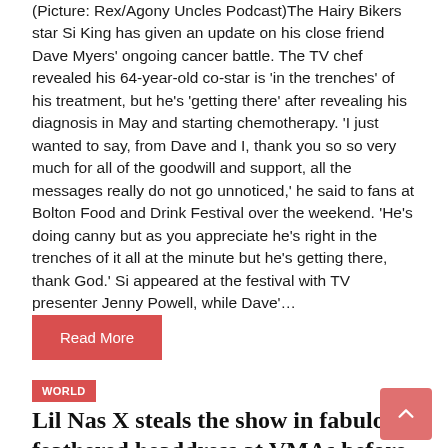(Picture: Rex/Agony Uncles Podcast)The Hairy Bikers star Si King has given an update on his close friend Dave Myers' ongoing cancer battle. The TV chef revealed his 64-year-old co-star is 'in the trenches' of his treatment, but he's 'getting there' after revealing his diagnosis in May and starting chemotherapy. 'I just wanted to say, from Dave and I, thank you so so very much for all of the goodwill and support, all the messages really do not go unnoticed,' he said to fans at Bolton Food and Drink Festival over the weekend. 'He's doing canny but as you appreciate he's right in the trenches of it all at the minute but he's getting there, thank God.' Si appeared at the festival with TV presenter Jenny Powell, while Dave'…
Read More
WORLD
Lil Nas X steals the show in fabulous feathered headdress at VMAs before winning big with Jack Harlow collab